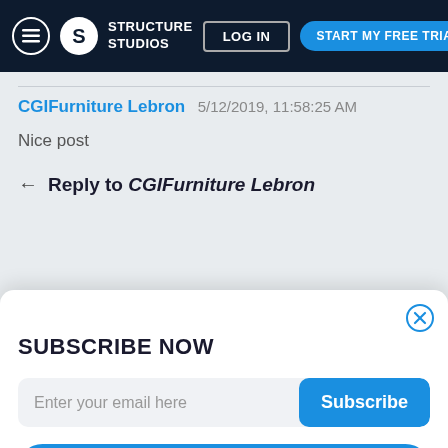STRUCTURE STUDIOS | LOG IN | START MY FREE TRIAL
CGIFurniture Lebron 5/12/2019, 11:58:25 AM
Nice post
Reply to CGIFurniture Lebron
SUBSCRIBE NOW
Enter your email here
I joined Anchor Pool and Spa Inc after interviewing for a pool drafts... AutoCad user since its beginning I learned the basics quickly and really liked the 3D aspect of using this software in foster...
START MY FREE TRIAL